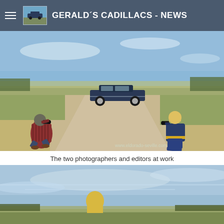GERALD´S CADILLACS - NEWS
[Figure (photo): Two photographers crouching and photographing a classic blue Cadillac parked on a rural road surrounded by farmland. Watermark: www.eldorado-seville.com]
The two photographers and editors at work
[Figure (photo): Outdoor scene with open sky, fields and horizon, partially visible person with blonde hair in foreground]